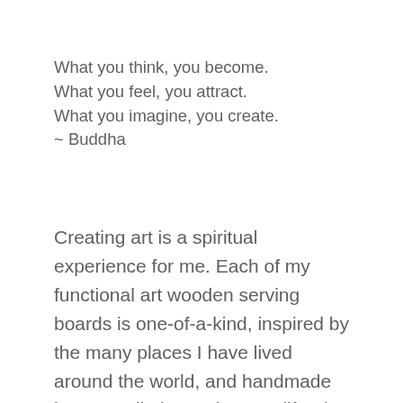What you think, you become.
What you feel, you attract.
What you imagine, you create.
~ Buddha
Creating art is a spiritual experience for me. Each of my functional art wooden serving boards is one-of-a-kind, inspired by the many places I have lived around the world, and handmade in my studio in Northern California.